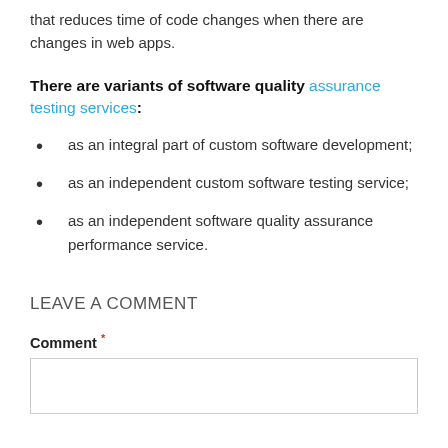that reduces time of code changes when there are changes in web apps.
There are variants of software quality assurance testing services:
as an integral part of custom software development;
as an independent custom software testing service;
as an independent software quality assurance performance service.
LEAVE A COMMENT
Comment *